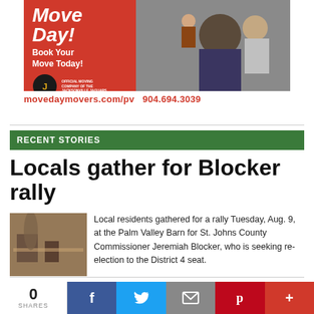[Figure (photo): Advertisement for Move Day Movers - red background with italic white text 'MOVE DAY!' and 'Book Your Move Today!', Jacksonville Jaguars official moving company logo, photo of movers with family, URL movedaymovers.com/pv and phone 904.694.3039]
RECENT STORIES
Locals gather for Blocker rally
[Figure (photo): Thumbnail photo of interior of Palm Valley Barn showing tables and people gathered]
Local residents gathered for a rally Tuesday, Aug. 9, at the Palm Valley Barn for St. Johns County Commissioner Jeremiah Blocker, who is seeking re-election to the District 4 seat.
0 SHARES